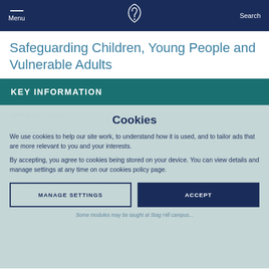Menu | [Surrey logo] | Search
Safeguarding Children, Young People and Vulnerable Adults
KEY INFORMATION
Start date: 07 Octob...
Attendance dates:
October 2022: 07, 10, 11, 24, 25
Venue: ...tance learning / Kate Granger Building, 30 Priestley Road, Surrey Research Park, Guildford, Surrey GU2 7...
Some modules may be taught at Stag Hill campus...
Cookies

We use cookies to help our site work, to understand how it is used, and to tailor ads that are more relevant to you and your interests.

By accepting, you agree to cookies being stored on your device. You can view details and manage settings at any time on our cookies policy page.
MANAGE SETTINGS
ACCEPT